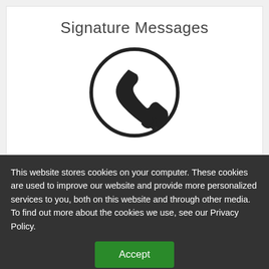Signature Messages
[Figure (illustration): A telephone handset icon inside a circle, rendered in dark/black color]
Signature Messages
Specializing in background music and text programs for the business telephone, with the distinct purpose of making the on-hold wait pleasant enough and
This website stores cookies on your computer. These cookies are used to improve our website and provide more personalized services to you, both on this website and through other media. To find out more about the cookies we use, see our Privacy Policy.
Accept